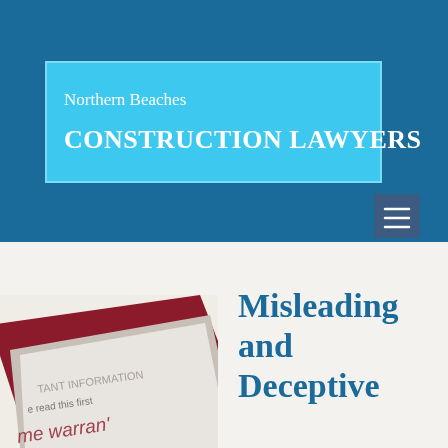[Figure (logo): Northern Beaches Construction Lawyers logo on cyan/light blue background with white text, set against a dark blue header]
[Figure (photo): Photo of a home warranty document showing text 'IMPORTANT INFORMATION please read this first' and 'home warranty' on red and white paper, angled on a light background]
Misleading and Deceptive